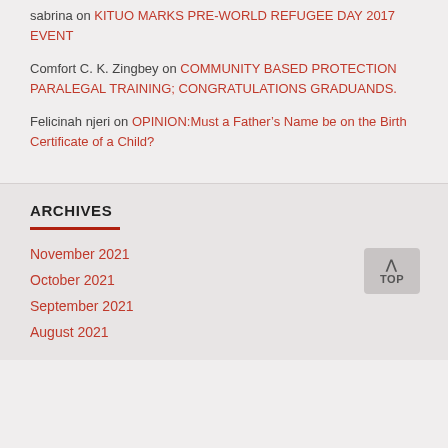sabrina on KITUO MARKS PRE-WORLD REFUGEE DAY 2017 EVENT
Comfort C. K. Zingbey on COMMUNITY BASED PROTECTION PARALEGAL TRAINING; CONGRATULATIONS GRADUANDS.
Felicinah njeri on OPINION:Must a Father's Name be on the Birth Certificate of a Child?
ARCHIVES
November 2021
October 2021
September 2021
August 2021